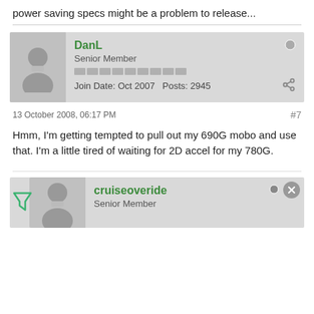power saving specs might be a problem to release...
DanL
Senior Member
Join Date: Oct 2007  Posts: 2945
13 October 2008, 06:17 PM   #7
Hmm, I'm getting tempted to pull out my 690G mobo and use that. I'm a little tired of waiting for 2D accel for my 780G.
cruiseoveride
Senior Member